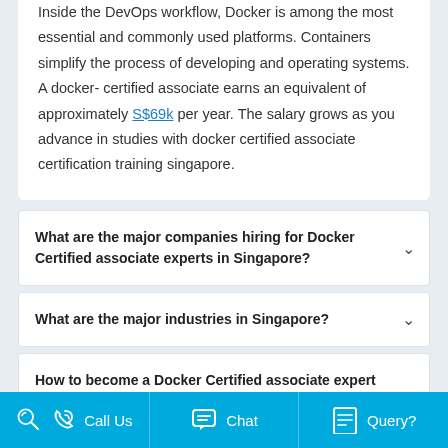Inside the DevOps workflow, Docker is among the most essential and commonly used platforms. Containers simplify the process of developing and operating systems. A docker-certified associate earns an equivalent of approximately S$69k per year. The salary grows as you advance in studies with docker certified associate certification training singapore.
What are the major companies hiring for Docker Certified associate experts in Singapore?
What are the major industries in Singapore?
How to become a Docker Certified associate expert in Singapore?
Call Us   Chat   Query?